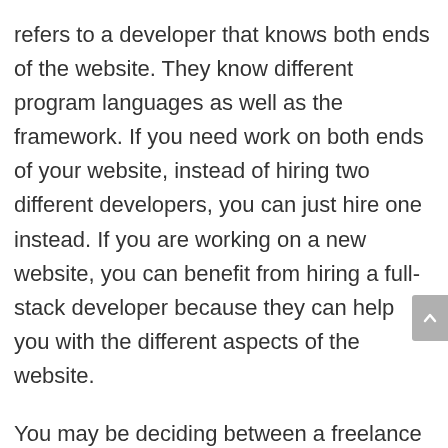refers to a developer that knows both ends of the website. They know different program languages as well as the framework. If you need work on both ends of your website, instead of hiring two different developers, you can just hire one instead. If you are working on a new website, you can benefit from hiring a full-stack developer because they can help you with the different aspects of the website.
You may be deciding between a freelance or full-time developer. To determine the right one for your needs, you may have to decide based on the size, complexity, and duration of your project. If you have a simple project that needs to be worked on, you can go for a freelance